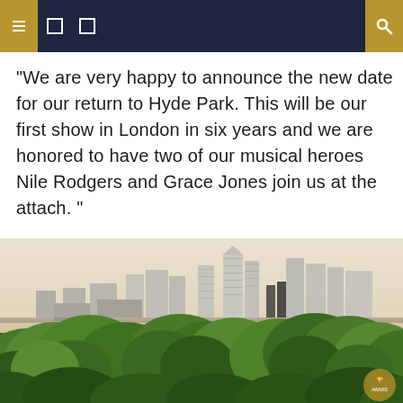Navigation header bar with icons
“We are very happy to announce the new date for our return to Hyde Park. This will be our first show in London in six years and we are honored to have two of our musical heroes Nile Rodgers and Grace Jones join us at the attach. ”
[Figure (photo): Aerial view of London city skyline showing Canary Wharf skyscrapers and dense green tree canopy in the foreground with a hazy sky]